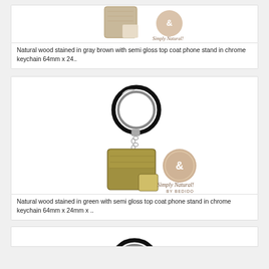[Figure (photo): Natural wood stained gray-brown phone stand keychain with Simply Natural by Bedido logo]
Natural wood stained in gray brown with semi gloss top coat phone stand in chrome keychain 64mm x 24..
[Figure (photo): Natural wood stained green phone stand keychain hanging on a metal ring, with Simply Natural by Bedido logo]
Natural wood stained in green with semi gloss top coat phone stand in chrome keychain 64mm x 24mm x ..
[Figure (photo): Partial view of another product keychain at the bottom of the page]